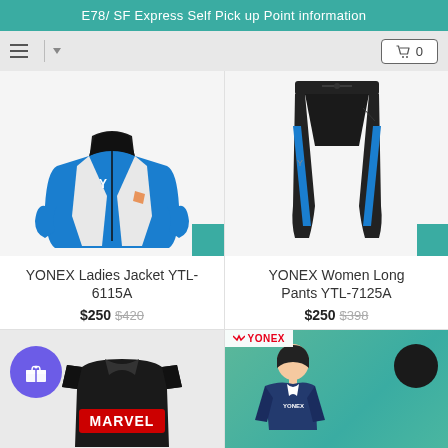E78/ SF Express Self Pick up Point information
[Figure (screenshot): Navigation bar with hamburger menu, dropdown arrow, and cart button showing 0 items]
[Figure (photo): YONEX Ladies Jacket YTL-6115A – blue and white zip-up sport jacket with Yonex logo]
YONEX Ladies Jacket YTL-6115A
$250 $420
[Figure (photo): YONEX Women Long Pants YTL-7125A – black tracksuit pants with blue stripe]
YONEX Women Long Pants YTL-7125A
$250 $398
[Figure (photo): Marvel black t-shirt with red Marvel logo on mannequin, with purple gift badge icon overlay]
[Figure (photo): YONEX promotional image showing woman in sportswear on teal/green background with Yonex logo and chat bubble icon]